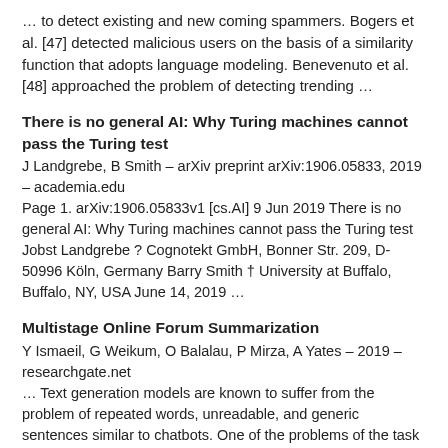… to detect existing and new coming spammers. Bogers et al. [47] detected malicious users on the basis of a similarity function that adopts language modeling. Benevenuto et al. [48] approached the problem of detecting trending …
There is no general AI: Why Turing machines cannot pass the Turing test
J Landgrebe, B Smith – arXiv preprint arXiv:1906.05833, 2019 – academia.edu
Page 1. arXiv:1906.05833v1 [cs.AI] 9 Jun 2019 There is no general AI: Why Turing machines cannot pass the Turing test Jobst Landgrebe ? Cognotekt GmbH, Bonner Str. 209, D-50996 Köln, Germany Barry Smith † University at Buffalo, Buffalo, NY, USA June 14, 2019 …
Multistage Online Forum Summarization
Y Ismaeil, G Weikum, O Balalau, P Mirza, A Yates – 2019 – researchgate.net
… Text generation models are known to suffer from the problem of repeated words, unreadable, and generic sentences similar to chatbots. One of the problems of the task of online forum … dit document. The documents are represented by language models that use Jelinek-Mercer …